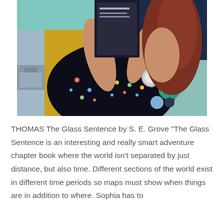[Figure (photo): A person holding up a book, wearing a dark floral dress with a blue lanyard and pins/buttons on their chest. The background shows a colorful indoor setting.]
THOMAS The Glass Sentence by S. E. Grove "The Glass Sentence is an interesting and really smart adventure chapter book where the world isn't separated by just distance, but also time. Different sections of the world exist in different time periods so maps must show when things are in addition to where. Sophia has to